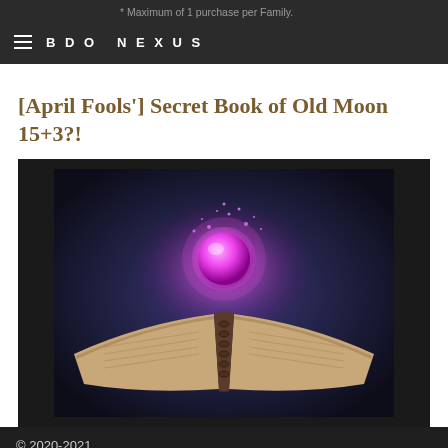* Maximum of 1 purchase per Family.
BDO NEXUS
[April Fools'] Secret Book of Old Moon 15+3?!
[Figure (photo): An open fantasy book with a glowing magenta/purple orb of energy floating above its pages, set against a dark blue-purple background.]
© 2020-2021